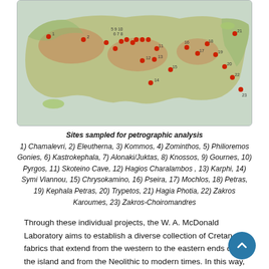[Figure (map): Map of Crete with numbered red dot markers indicating sampling sites for petrographic analysis across the island from west to east.]
Sites sampled for petrographic analysis
1) Chamalevri, 2) Eleutherna, 3) Kommos, 4) Zominthos, 5) Philioremos Gonies, 6) Kastrokephala, 7) Alonaki/Juktas, 8) Knossos, 9) Gournes, 10) Pyrgos, 11) Skoteino Cave, 12) Hagios Charalambos , 13) Karphi, 14) Symi Viannou, 15) Chrysokamino, 16) Pseira, 17) Mochlos, 18) Petras, 19) Kephala Petras, 20) Trypetos, 21) Hagia Photia, 22) Zakros Karoumes, 23) Zakros-Choiromandres
Through these individual projects, the W. A. McDonald Laboratory aims to establish a diverse collection of Cretan fabrics that extend from the western to the eastern ends of the island and from the Neolithic to modern times. In this way, scholars will be able to examine issues such as clay recipes and their continuity through time, as well as the distribution of ceramic products across the island. The Laboratory's collection of ceramic thin sections is open